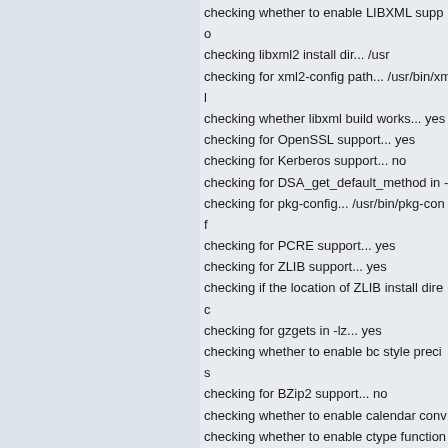checking whether to enable LIBXML support...
checking libxml2 install dir... /usr
checking for xml2-config path... /usr/bin/xml2-config
checking whether libxml build works... yes
checking for OpenSSL support... yes
checking for Kerberos support... no
checking for DSA_get_default_method in -l...
checking for pkg-config... /usr/bin/pkg-config
checking for PCRE support... yes
checking for ZLIB support... yes
checking if the location of ZLIB install direc...
checking for gzgets in -lz... yes
checking whether to enable bc style precis...
checking for BZip2 support... no
checking whether to enable calendar conv...
checking whether to enable ctype functions...
checking for cURL support... yes
checking if we should use cURL for url stre...
checking for cURL in default path... found i...
checking for cURL 7.10.5 or greater... libc...
checking for SSL support in libcurl... yes